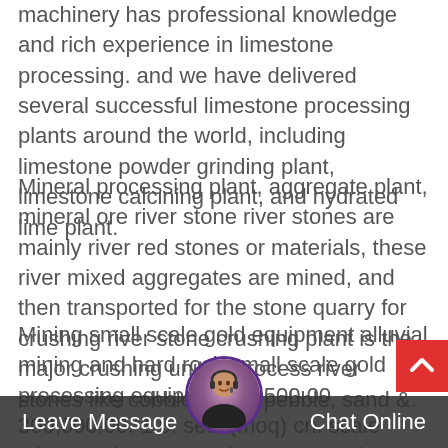machinery has professional knowledge and rich experience in limestone processing. and we have delivered several successful limestone processing plants around the world, including limestone powder grinding plant, limestone calcining plant, and hydrated lime plant.
Mineral processing plant, aggregate plant, mineral ore river stone river stones are mainly river red stones or materials, these river mixed aggregates are mined, and then transported for the stone quarry for crushing river stone crushing plant is the major crushing unit to process river stones like cobble rocks, pebble, sand &.
Mining small scale gold equipment alluvial mining and hard rock small scale gold processing equipment. 1,500.00 300,000.00. 1.0. sets (moq) cn. scale mining gold copper mining processing plant 1. large scale mining copper flotation processing for gold 3,000.00.
[Figure (screenshot): Website chat widget bottom bar with 'Leave Message' on the left, 'Chat Online' on the right, and a customer service avatar in the center. A red scroll-to-top button with an upward chevron is in the bottom-right corner.]